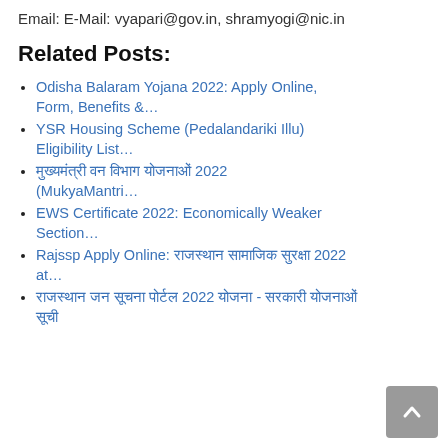Email: E-Mail: vyapari@gov.in, shramyogi@nic.in
Related Posts:
Odisha Balaram Yojana 2022: Apply Online, Form, Benefits &…
YSR Housing Scheme (Pedalandariki Illu) Eligibility List…
मुख्यमंत्री वन विभाग योजनाओं 2022 (MukyaMantri…
EWS Certificate 2022: Economically Weaker Section…
Rajssp Apply Online: राजस्थान सामाजिक सुरक्षा 2022 at…
राजस्थान जन सूचना पोर्टल 2022 योजना - सरकारी योजनाओं सूची